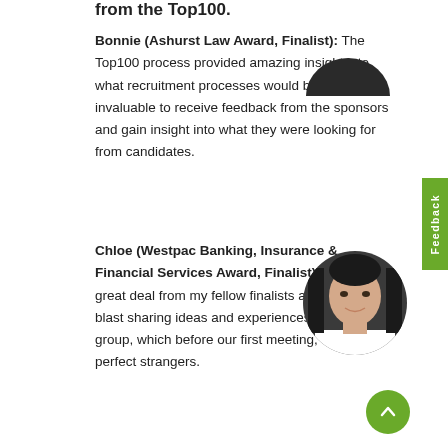Bonnie (Ashurst Law Award, Finalist): The Top100 process provided amazing insight into what recruitment processes would be like. It was invaluable to receive feedback from the sponsors and gain insight into what they were looking for from candidates.
[Figure (photo): Partial view of a person's head (top of head only visible), cropped circle photo]
Chloe (Westpac Banking, Insurance & Financial Services Award, Finalist): I learned a great deal from my fellow finalists and had a blast sharing ideas and experiences amongst my group, which before our first meeting, were perfect strangers.
[Figure (photo): Circular portrait photo of a young Asian woman with long dark hair, wearing a white top, against a dark background]